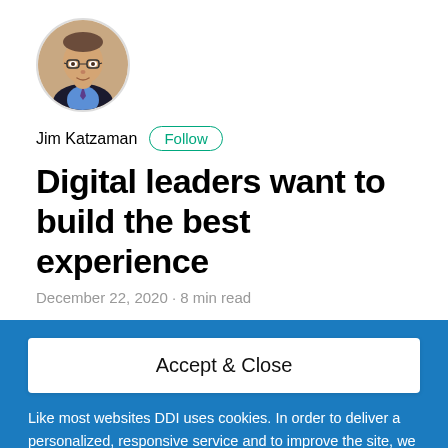[Figure (photo): Circular profile photo of Jim Katzaman, a man wearing glasses, a dark blazer, and a blue shirt, with a tan background.]
Jim Katzaman  Follow
Digital leaders want to build the best experience
December 22, 2020 · 8 min read
Accept & Close
Like most websites DDI uses cookies. In order to deliver a personalized, responsive service and to improve the site, we remember and store information about how you use it. This is done using simple text files called cookies which sit on your computer. These cookies are completely safe and secure and will never contain any sensitive information.